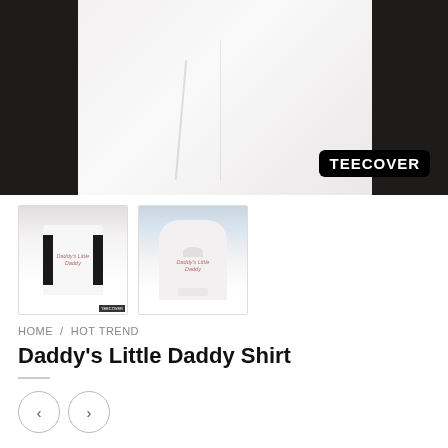[Figure (photo): Main product photo showing a person wearing a white t-shirt, with TEECOVER branding badge in the bottom right corner. Dark-skinned person torso visible.]
[Figure (photo): Thumbnail photo of a person wearing a white t-shirt with 'Daddy's Little Daddy' text printed on it.]
[Figure (photo): Thumbnail photo of a person wearing a white hoodie with 'Daddy's Little Daddy' text printed on it.]
HOME / HOT TREND
Daddy's Little Daddy Shirt
$18.99
SIZE GUIDE